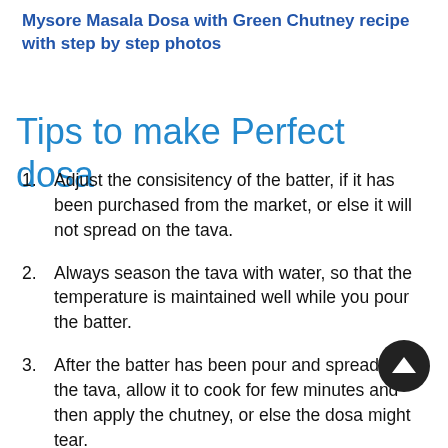Mysore Masala Dosa with Green Chutney recipe with step by step photos
Tips to make Perfect dosa
Adjust the consisitency of the batter, if it has been purchased from the market, or else it will not spread on the tava.
Always season the tava with water, so that the temperature is maintained well while you pour the batter.
After the batter has been pour and spread on the tava, allow it to cook for few minutes and then apply the chutney, or else the dosa might tear.
After the masala has been put, allow it to heat it for sometime, fold from both the ends